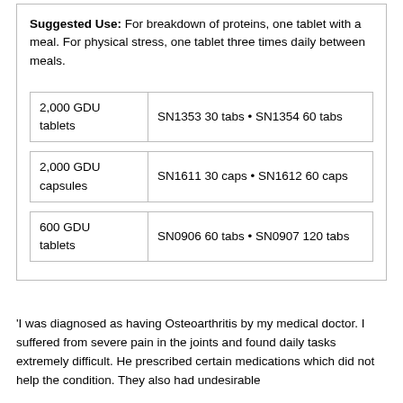Suggested Use: For breakdown of proteins, one tablet with a meal. For physical stress, one tablet three times daily between meals.
| 2,000 GDU tablets | SN1353 30 tabs • SN1354 60 tabs |
| 2,000 GDU capsules | SN1611 30 caps • SN1612 60 caps |
| 600 GDU tablets | SN0906 60 tabs • SN0907 120 tabs |
'I was diagnosed as having Osteoarthritis by my medical doctor. I suffered from severe pain in the joints and found daily tasks extremely difficult. He prescribed certain medications which did not help the condition. They also had undesirable